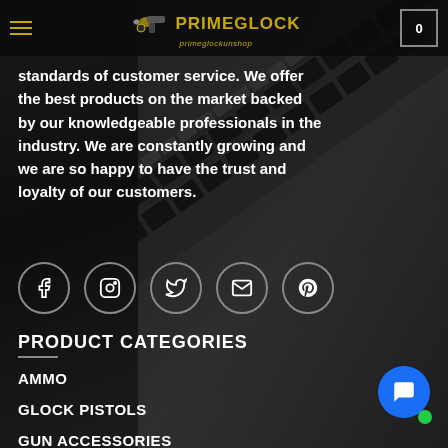PRIMEGLOCK | primeglockunshop | 0
standards of customer service. We offer the best products on the market backed by our knowledgeable professionals in the industry. We are constantly growing and we are so happy to have the trust and loyalty of our customers.
[Figure (illustration): Social media icons row: Facebook, Instagram, Twitter, Email, Pinterest - all circular with white outlines on dark background]
[Figure (photo): Dark background with a black AR-15 rifle handguard/rail running diagonally from bottom-left to upper-right, showing M-LOK slots and Picatinny rail on top]
PRODUCT CATEGORIES
AMMO
GLOCK PISTOLS
GUN ACCESSORIES
HANDGUNS